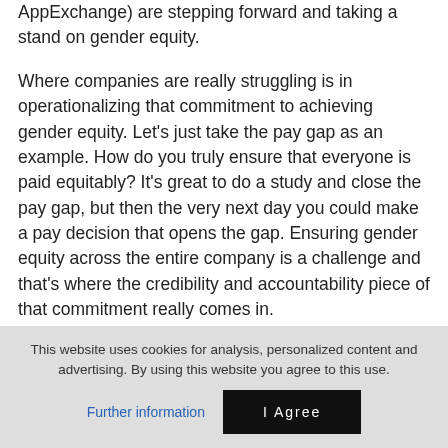AppExchange) are stepping forward and taking a stand on gender equity.
Where companies are really struggling is in operationalizing that commitment to achieving gender equity. Let’s just take the pay gap as an example. How do you truly ensure that everyone is paid equitably? It's great to do a study and close the pay gap, but then the very next day you could make a pay decision that opens the gap. Ensuring gender equity across the entire company is a challenge and that's where the credibility and accountability piece of that commitment really comes in.
This website uses cookies for analysis, personalized content and advertising. By using this website you agree to this use.
Further information
I Agree